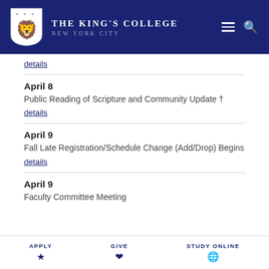The King's College New York City
details
April 8
Public Reading of Scripture and Community Update †
details
April 9
Fall Late Registration/Schedule Change (Add/Drop) Begins
details
April 9
Faculty Committee Meeting
APPLY   GIVE   STUDY ONLINE